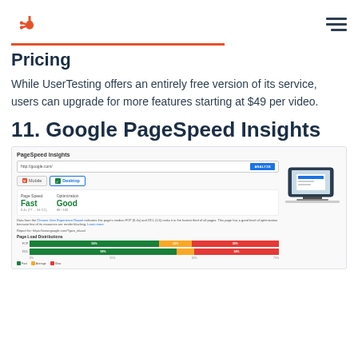HubSpot logo and hamburger menu
Pricing
While UserTesting offers an entirely free version of its service, users can upgrade for more features starting at $49 per video.
11. Google PageSpeed Insights
[Figure (screenshot): Screenshot of Google PageSpeed Insights tool showing PageSpeed Insights header, URL bar with http://google.com/ and ANALYZE button, Mobile and Desktop tabs with Desktop selected, metrics showing Page Speed: Fast and Optimization: Good, data description text, Report URL, Page Load Distributions bar chart with two horizontal stacked bars (green/orange/red segments), and a laptop image on the right.]